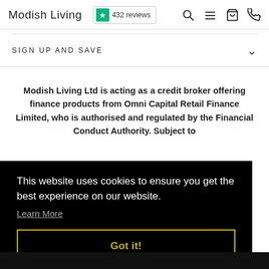Modish Living — 432 reviews
SIGN UP AND SAVE
Modish Living Ltd is acting as a credit broker offering finance products from Omni Capital Retail Finance Limited, who is authorised and regulated by the Financial Conduct Authority. Subject to
This website uses cookies to ensure you get the best experience on our website. Learn More
Got it!